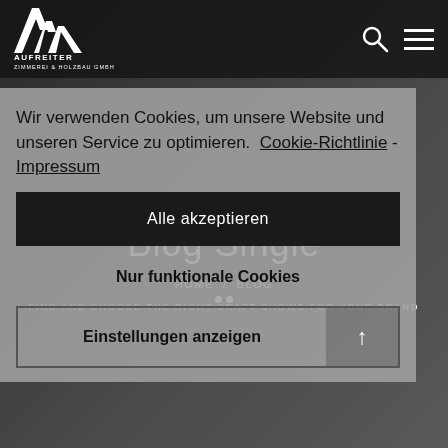[Figure (screenshot): Dark background photo of a room interior, partially visible]
AUFREITER ZIMMEREI & HOLZBAU GMBH — navigation with search and menu icons
Blog Single
HOME / BLOG
FIND AND CHOOSE THE RIGHT CRAFT SHOWS FOR YOUR BRAND
Wir verwenden Cookies, um unsere Website und unseren Service zu optimieren.  Cookie-Richtlinie - Impressum
Alle akzeptieren
Nur funktionale Cookies
Einstellungen anzeigen